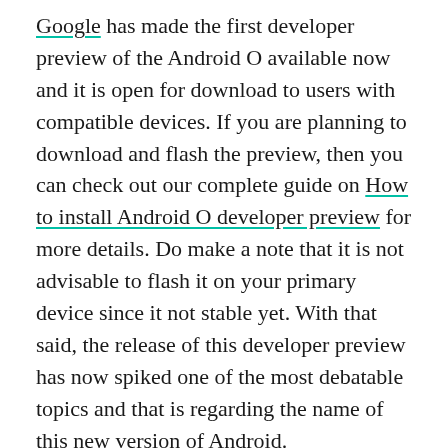Google has made the first developer preview of the Android O available now and it is open for download to users with compatible devices. If you are planning to download and flash the preview, then you can check out our complete guide on How to install Android O developer preview for more details. Do make a note that it is not advisable to flash it on your primary device since it not stable yet. With that said, the release of this developer preview has now spiked one of the most debatable topics and that is regarding the name of this new version of Android.
As you may or may not know, Google follows an alphabetical routine and they name their OS after desserts and sweet dishes. There was a lot of speculation surrounding the name of Android N which turned out to be Nougat and same was the case a year before that and so on. Hence this is not something new but a yearly discussion. Talking about the new version of Android, it